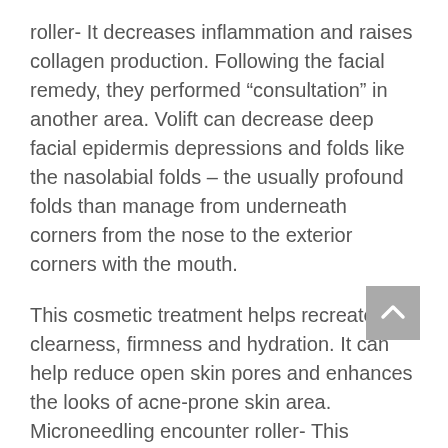roller- It decreases inflammation and raises collagen production. Following the facial remedy, they performed “consultation” in another area. Volift can decrease deep facial epidermis depressions and folds like the nasolabial folds – the usually profound folds than manage from underneath corners from the nose to the exterior corners with the mouth.
This cosmetic treatment helps recreate clearness, firmness and hydration. It can help reduce open skin pores and enhances the looks of acne-prone skin area. Microneedling encounter roller- This technique has smaller needless that trigger micro-tears in the machine, leading your body to market collagen generation to heal the region. As we age group, system.drawing.bitmap pads for the cheeks and face begin to sag downwards because of gravity. This non-